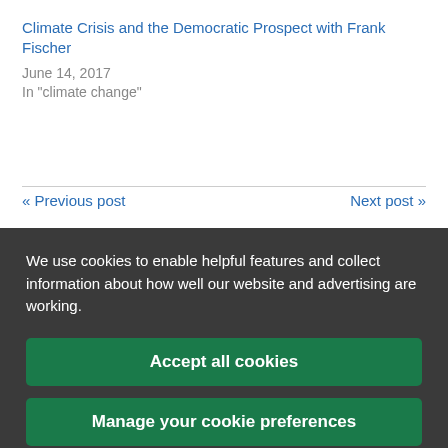Climate Crisis and the Democratic Prospect with Frank Fischer
June 14, 2017
In "climate change"
« Previous post
Next post »
We use cookies to enable helpful features and collect information about how well our website and advertising are working.
Accept all cookies
Manage your cookie preferences